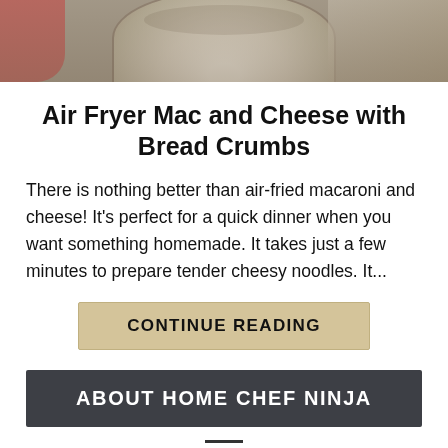[Figure (photo): Photo of a bowl of mac and cheese, partially cropped at top. Red floral fabric visible on the left, grey textured background.]
Air Fryer Mac and Cheese with Bread Crumbs
There is nothing better than air-fried macaroni and cheese! It's perfect for a quick dinner when you want something homemade. It takes just a few minutes to prepare tender cheesy noodles. It...
CONTINUE READING
ABOUT HOME CHEF NINJA